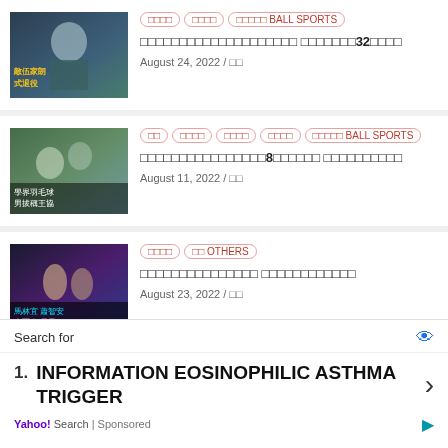[Figure (photo): Sports article card 1 - badminton/sports player photo with Chinese text overlay showing retirement announcement]
Tags: BALL SPORTS article, August 24, 2022 - headline with 32 in it
[Figure (photo): Sports article card 2 - badminton tournament photo with Chinese text overlay about school badminton king]
Tags: BALL SPORTS article, August 11, 2022 - headline with 8 in it
[Figure (photo): Sports article card 3 - bodybuilding competition photo with Chinese text overlay about championship groups]
Tags: OTHERS article, August 23, 2022
Search for
1. INFORMATION EOSINOPHILIC ASTHMA TRIGGER
Yahoo! Search | Sponsored